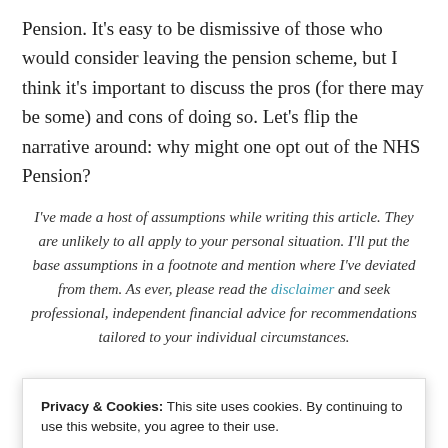Pension. It's easy to be dismissive of those who would consider leaving the pension scheme, but I think it's important to discuss the pros (for there may be some) and cons of doing so. Let's flip the narrative around: why might one opt out of the NHS Pension?
I've made a host of assumptions while writing this article. They are unlikely to all apply to your personal situation. I'll put the base assumptions in a footnote and mention where I've deviated from them. As ever, please read the disclaimer and seek professional, independent financial advice for recommendations tailored to your individual circumstances.
Privacy & Cookies: This site uses cookies. By continuing to use this website, you agree to their use. To find out more, including how to control cookies, see here: Cookie Policy
Close and accept